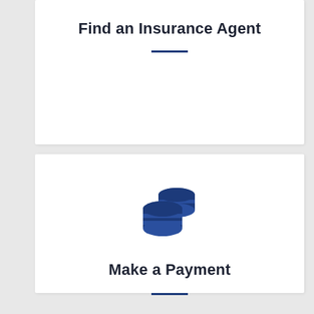Find an Insurance Agent
[Figure (other): Horizontal dark blue divider line]
[Figure (illustration): Stack of coins icon in dark navy blue]
Make a Payment
[Figure (other): Horizontal dark blue divider line]